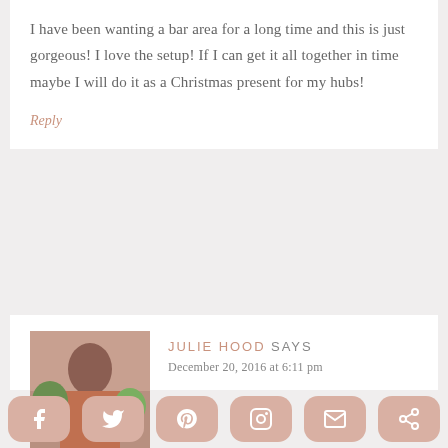I have been wanting a bar area for a long time and this is just gorgeous! I love the setup! If I can get it all together in time maybe I will do it as a Christmas present for my hubs!
Reply
JULIE HOOD SAYS
December 20, 2016 at 6:11 pm
[Figure (photo): Social media sharing bar with icons for Facebook, Twitter, Pinterest, Instagram, Email, and Share]